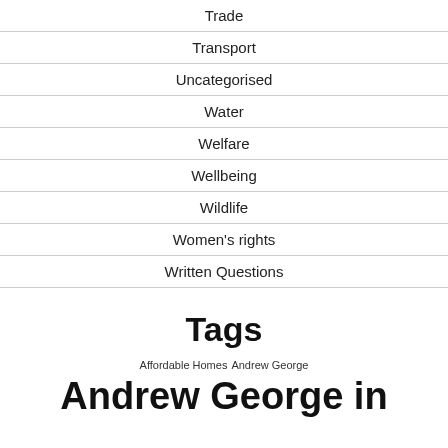Trade
Transport
Uncategorised
Water
Welfare
Wellbeing
Wildlife
Women's rights
Written Questions
Tags
Affordable Homes Andrew George Andrew George in